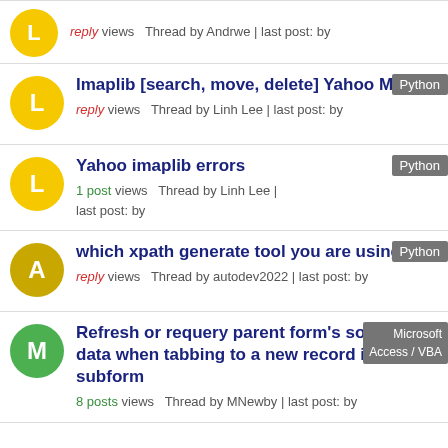reply views Thread by Andrwe | last post: by
Imaplib [search, move, delete] Yahoo Mail — Python — reply views Thread by Linh Lee | last post: by
Yahoo imaplib errors — Python — 1 post views Thread by Linh Lee | last post: by
which xpath generate tool you are using — Python — reply views Thread by autodev2022 | last post: by
Refresh or requery parent form's source data when tabbing to a new record in the subform — Microsoft Access / VBA — 8 posts views Thread by MNewby | last post: by